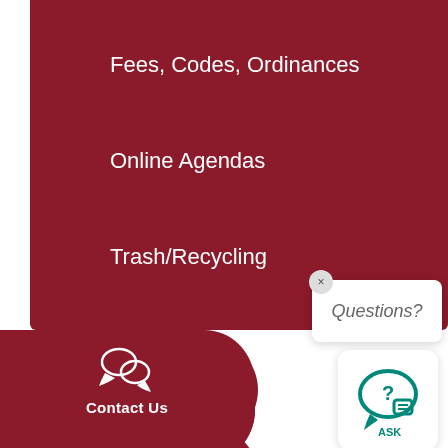Fees, Codes, Ordinances
Online Agendas
Trash/Recycling
[Figure (infographic): Dark red pill-shaped button with chat bubble icon and text Contact Us]
[Figure (infographic): Dark red pill-shaped button with envelope icon and text Notify Me]
[Figure (infographic): Partial dark red pill-shaped button at bottom of page]
[Figure (infographic): Questions? bubble popup with close X button and teal ASK chat widget below]